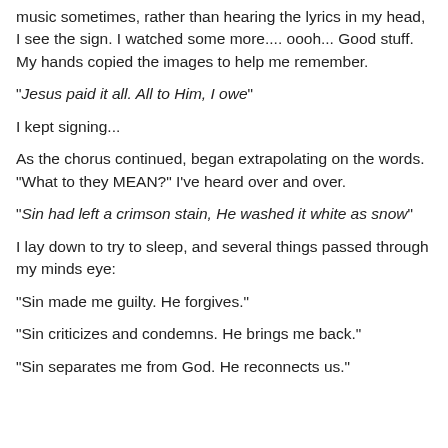music sometimes, rather than hearing the lyrics in my head, I see the sign. I watched some more.... oooh... Good stuff. My hands copied the images to help me remember.
"Jesus paid it all. All to Him, I owe"
I kept signing...
As the chorus continued, began extrapolating on the words. "What to they MEAN?" I've heard over and over.
"Sin had left a crimson stain, He washed it white as snow"
I lay down to try to sleep, and several things passed through my minds eye:
"Sin made me guilty. He forgives."
"Sin criticizes and condemns. He brings me back."
"Sin separates me from God. He reconnects us."